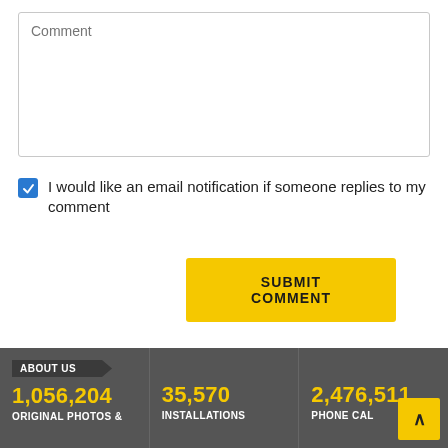Comment
I would like an email notification if someone replies to my comment
SUBMIT COMMENT
ABOUT US
1,056,204
ORIGINAL PHOTOS &
35,570
INSTALLATIONS
2,476,511
PHONE CAL